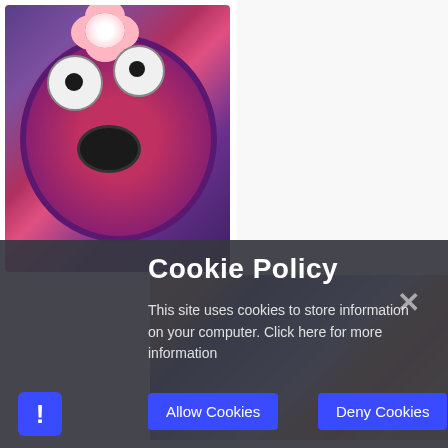[Figure (photo): A colorful handmade piggy bank figure with large googly eyes, a black nose, purple body wrapped in yarn/fabric, a flower decoration on top, and small purple feet. Set against a dark purple background.]
[Figure (photo): A classroom or library scene showing bookshelves with colorful books in the background, a blue display board with a figure, a grey cardboard box character with a face, and a white fluffy animal figure (possibly a sheep) on a wooden surface.]
Cookie Policy
This site uses cookies to store information on your computer. Click here for more information
Allow Cookies
Deny Cookies